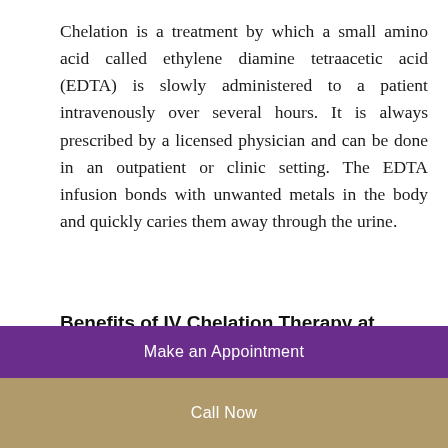Chelation is a treatment by which a small amino acid called ethylene diamine tetraacetic acid (EDTA) is slowly administered to a patient intravenously over several hours. It is always prescribed by a licensed physician and can be done in an outpatient or clinic setting. The EDTA infusion bonds with unwanted metals in the body and quickly caries them away through the urine.
Benefits of IV Chelation Therapy at LotusRain Naturopathic Clinic in San Diego
Chelation therapy enables the [toxic metals and chemicals diminish...]
Make an Appointment
Call Now